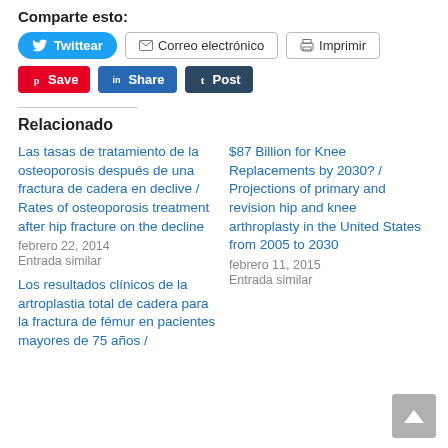Comparte esto:
Twittear | Correo electrónico | Imprimir
Save | Share | Post
Relacionado
Las tasas de tratamiento de la osteoporosis después de una fractura de cadera en declive / Rates of osteoporosis treatment after hip fracture on the decline
febrero 22, 2014
Entrada similar
$87 Billion for Knee Replacements by 2030? / Projections of primary and revision hip and knee arthroplasty in the United States from 2005 to 2030
febrero 11, 2015
Entrada similar
Los resultados clínicos de la artroplastia total de cadera para la fractura de fémur en pacientes mayores de 75 años /